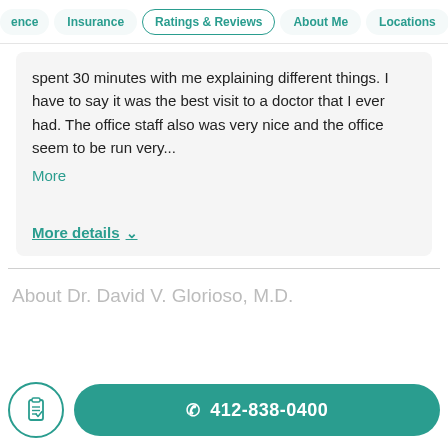ence | Insurance | Ratings & Reviews | About Me | Locations
spent 30 minutes with me explaining different things. I have to say it was the best visit to a doctor that I ever had. The office staff also was very nice and the office seem to be run very...
More
More details
About Dr. David V. Glorioso, M.D.
412-838-0400